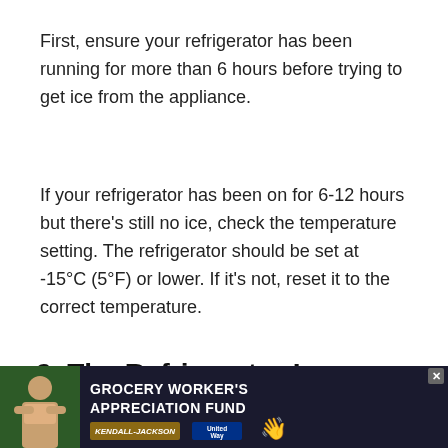First, ensure your refrigerator has been running for more than 6 hours before trying to get ice from the appliance.
If your refrigerator has been on for 6-12 hours but there's still no ice, check the temperature setting. The refrigerator should be set at -15°C (5°F) or lower. If it's not, reset it to the correct temperature.
2. The Refrigerator Ice Maker Function Is Deactivated
To make and dispense ice, the ice maker function on… If ice
[Figure (other): Advertisement banner for Grocery Worker's Appreciation Fund featuring Kendall-Jackson and United Way logos, with a close button]